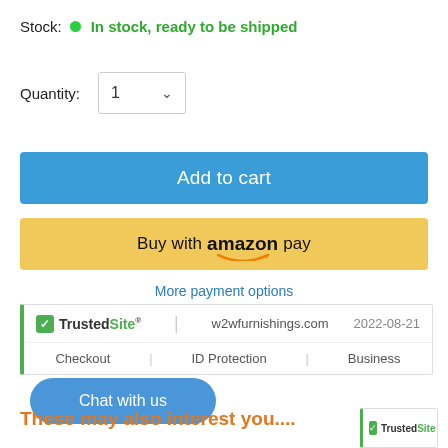Stock:  ● In stock, ready to be shipped
Quantity:  1 ▾
Add to cart
Buy with amazon pay
More payment options
[Figure (other): TrustedSite badge showing w2wfurnishings.com, 2022-08-21, with Checkout, ID Protection, Business certifications]
Chat with us
These may also interest you....